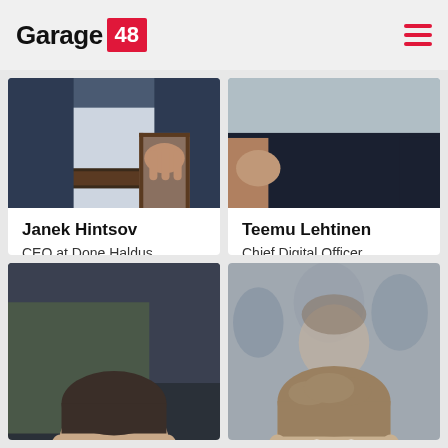Garage 48
[Figure (photo): Partial body photo of Janek Hintsov holding a framed item, wearing a suit]
Janek Hintsov
CEO at Done Haldus
[Figure (photo): Partial body photo of Teemu Lehtinen in a dark sweater]
Teemu Lehtinen
Chief Digital Officer (Digipäällikkö) at KIRA-digi project
[Figure (photo): Photo of a young man with short dark hair at an event]
[Figure (photo): Photo of a man with light brown hair, slightly blurred background with crowd]